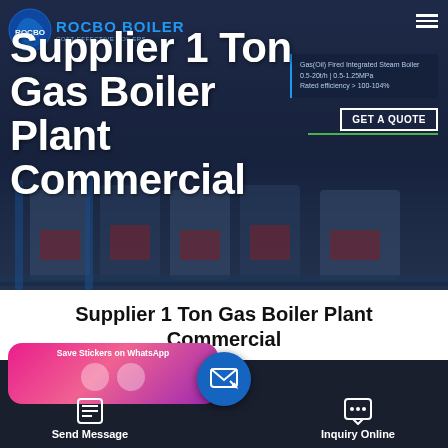[Figure (photo): Hero banner showing industrial gas boiler plant equipment with dark blue background. Rocbo Boiler logo top-left with tagline 'COST-EFFECTIVE BOILERS'. Right side shows boiler spec panel and 'GET A QUOTE' button. Large white bold text reads 'Supplier 1 Ton Gas Boiler Plant Commercial'.]
Supplier 1 Ton Gas Boiler Plant Commercial
[Figure (screenshot): Bottom toolbar with dark navy background. Left: pink/purple gradient card saying 'Save Stickers on WhatsApp'. Center: blue circular floating action button with envelope/message icon. Left button: 'Send Message' with document icon. Right button: 'Inquiry Online' with chat bubble icon.]